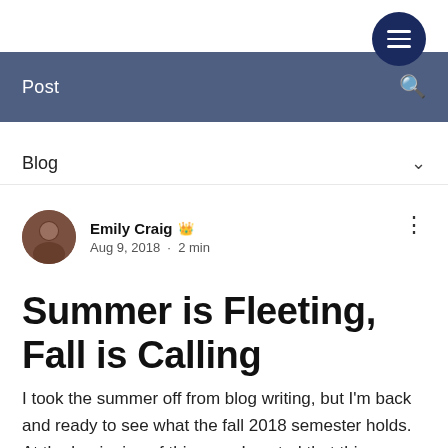Post
Blog
Emily Craig · Aug 9, 2018 · 2 min
Summer is Fleeting, Fall is Calling
I took the summer off from blog writing, but I'm back and ready to see what the fall 2018 semester holds. At the beginning of this year, I posted that this was indeed my final year in college,